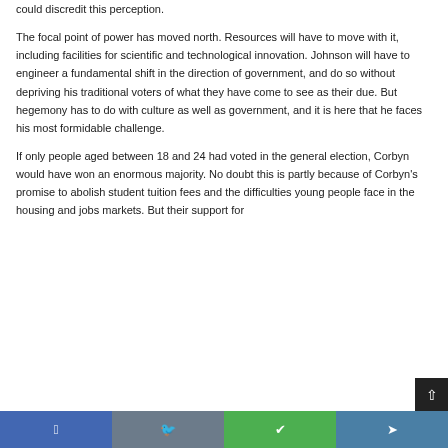could discredit this perception.
The focal point of power has moved north. Resources will have to move with it, including facilities for scientific and technological innovation. Johnson will have to engineer a fundamental shift in the direction of government, and do so without depriving his traditional voters of what they have come to see as their due. But hegemony has to do with culture as well as government, and it is here that he faces his most formidable challenge.
If only people aged between 18 and 24 had voted in the general election, Corbyn would have won an enormous majority. No doubt this is partly because of Corbyn's promise to abolish student tuition fees and the difficulties young people face in the housing and jobs markets. But their support for Corbyn is also a product of beliefs and values they share...
Facebook  Twitter  WhatsApp  Telegram